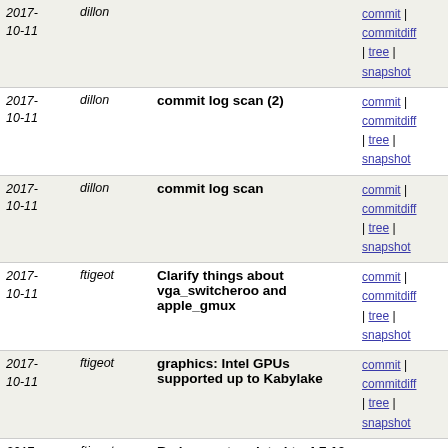| Date | Author | Message | Links |
| --- | --- | --- | --- |
| 2017-10-11 | dillon | commit log scan (3) | commit | commitdiff | tree | snapshot |
| 2017-10-11 | dillon | commit log scan (2) | commit | commitdiff | tree | snapshot |
| 2017-10-11 | dillon | commit log scan | commit | commitdiff | tree | snapshot |
| 2017-10-11 | ftigeot | Clarify things about vga_switcheroo and apple_gmux | commit | commitdiff | tree | snapshot |
| 2017-10-11 | ftigeot | graphics: Intel GPUs supported up to Kabylake | commit | commitdiff | tree | snapshot |
| 2017-10-11 | ftigeot | Radeon not updated to 4.7.10 after all | commit | commitdiff | tree | snapshot |
| 2017-10-09 | justin | Donations from Harold Brinkhof and Dmitry Postolov... | commit | commitdiff | tree | snapshot |
| 2017-10-09 | justin | More release item links added | commit | commitdiff | tree | snapshot |
| 2017-10-09 | justin | Save updated changelog items so far | commit | commitdiff | tree | snapshot |
| 2017-10-07 | justin | Initial creation | commit | commitdiff | tree | snapshot |